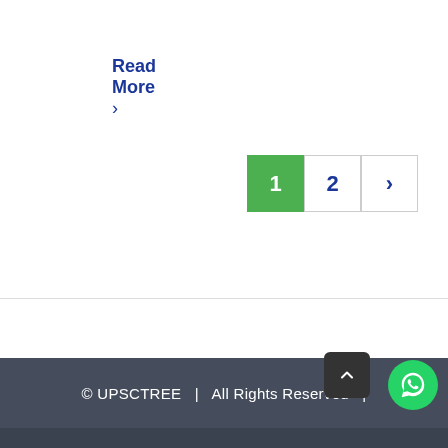Read More >
1 2 >
© UPSCTREE  |  All Rights Reserved  |